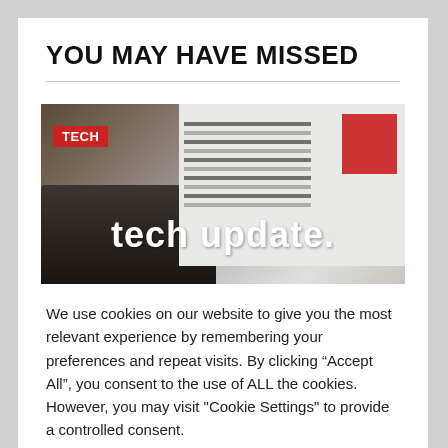YOU MAY HAVE MISSED
[Figure (photo): A laptop keyboard with a code/document on screen and a red rectangle in the top right corner. Overlay text reads 'tech update.' with a red TECH badge in the top left.]
We use cookies on our website to give you the most relevant experience by remembering your preferences and repeat visits. By clicking “Accept All”, you consent to the use of ALL the cookies. However, you may visit "Cookie Settings" to provide a controlled consent.
Cookie Settings   Accept All